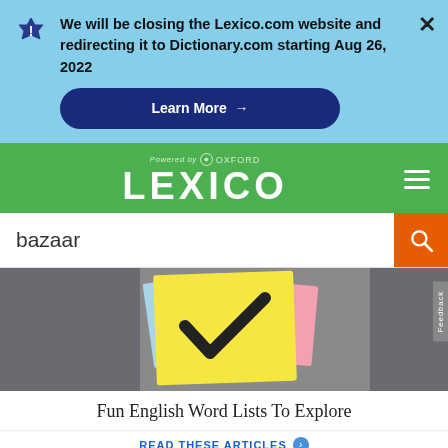We will be closing the Lexico.com website and redirecting it to Dictionary.com starting Aug 26, 2022
Learn More →
[Figure (screenshot): Lexico powered by Oxford logo with green background header and hamburger menu]
bazaar
[Figure (photo): Sticky notes with checkmark on gray stone background]
Fun English Word Lists To Explore